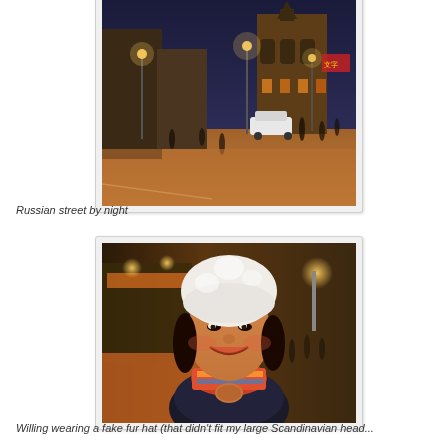[Figure (photo): Nighttime street scene in a Russian city with orange street lights illuminating a wide pedestrian area, historical European-style buildings, crowds of people, and a white car parked on the street.]
Russian street by night
[Figure (photo): Close-up portrait of a smiling Asian woman wearing a white fur hat and colorful scarf, with a blurred night market street scene visible in the background.]
Willing wearing a fake fur hat (that didn't fit my large Scandinavian head...